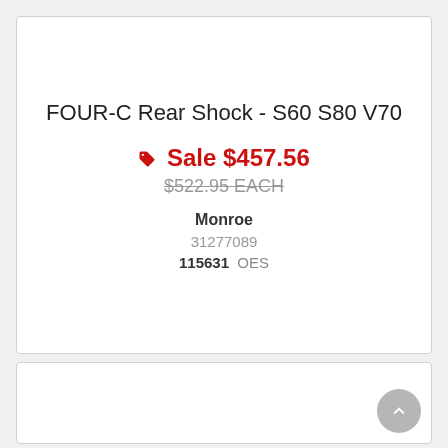FOUR-C Rear Shock - S60 S80 V70
Sale $457.56
$522.95 EACH
Monroe
31277089
115631  OES